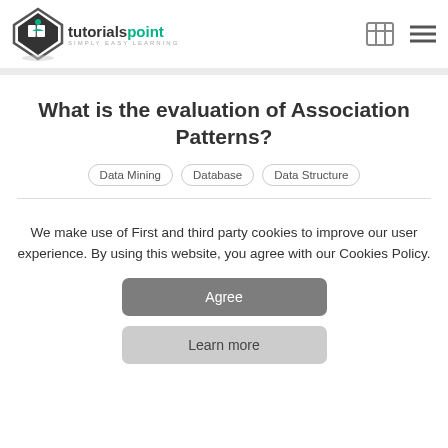tutorialspoint SIMPLY EASY LEARNING
What is the evaluation of Association Patterns?
Data Mining
Database
Data Structure
We make use of First and third party cookies to improve our user experience. By using this website, you agree with our Cookies Policy.
Agree
Learn more